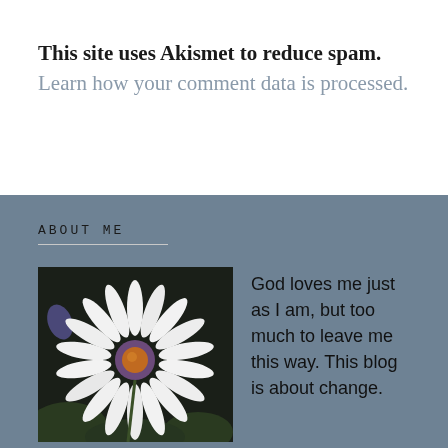This site uses Akismet to reduce spam. Learn how your comment data is processed.
ABOUT ME
[Figure (photo): Close-up photograph of a white daisy flower with a purple and orange center, surrounded by green foliage against a dark background.]
God loves me just as I am, but too much to leave me this way. This blog is about change.